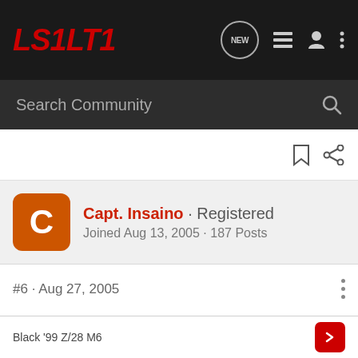LS1LT1
Search Community
Capt. Insaino · Registered
Joined Aug 13, 2005 · 187 Posts
#6 · Aug 27, 2005
Thats timeless humor there. Good times.. good times..
Black '99 Z/28 M6